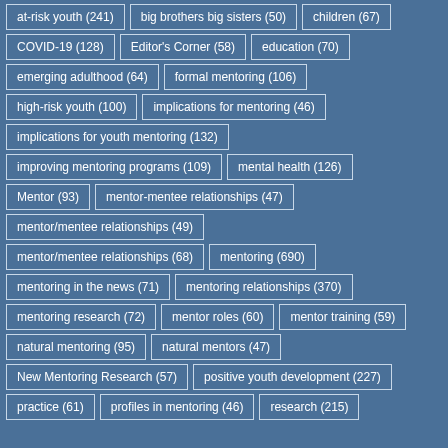at-risk youth (241)
big brothers big sisters (50)
children (67)
COVID-19 (128)
Editor's Corner (58)
education (70)
emerging adulthood (64)
formal mentoring (106)
high-risk youth (100)
implications for mentoring (46)
implications for youth mentoring (132)
improving mentoring programs (109)
mental health (126)
Mentor (93)
mentor-mentee relationships (47)
mentor/mentee relationships (49)
mentor/mentee relationships (68)
mentoring (690)
mentoring in the news (71)
mentoring relationships (370)
mentoring research (72)
mentor roles (60)
mentor training (59)
natural mentoring (95)
natural mentors (47)
New Mentoring Research (57)
positive youth development (227)
practice (61)
profiles in mentoring (46)
research (215)